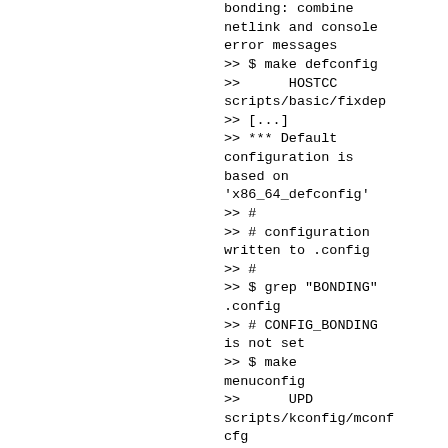bonding: combine netlink and console error messages
>> $ make defconfig
>>      HOSTCC scripts/basic/fixdep
>> [...]
>> *** Default configuration is based on 'x86_64_defconfig'
>> #
>> # configuration written to .config
>> #
>> $ grep "BONDING" .config
>> # CONFIG_BONDING is not set
>> $ make menuconfig
>>      UPD scripts/kconfig/mconf cfg
>> [...]
>> configuration written to .config
>>
>> *** End of the configuration.
>> *** Execute